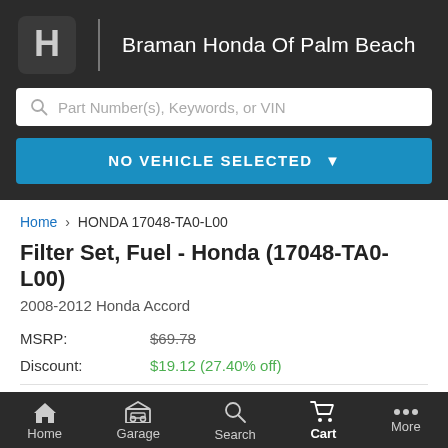Braman Honda Of Palm Beach
Part Number(s), Keywords, or VIN
NO VEHICLE SELECTED
Home > HONDA 17048-TA0-L00
Filter Set, Fuel - Honda (17048-TA0-L00)
2008-2012 Honda Accord
| Label | Value |
| --- | --- |
| MSRP: | $69.78 |
| Discount: | $19.12 (27.40% off) |
Home  Garage  Search  Cart  More